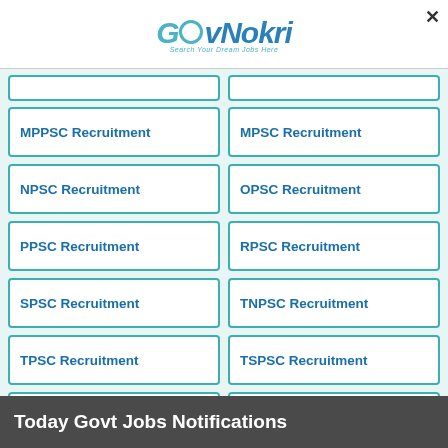[Figure (logo): GovNokri logo with blue and red stylized text and tagline 'Search Your Dream Jobs Here']
MPPSC Recruitment
MPSC Recruitment
NPSC Recruitment
OPSC Recruitment
PPSC Recruitment
RPSC Recruitment
SPSC Recruitment
TNPSC Recruitment
TPSC Recruitment
TSPSC Recruitment
UKPSC Recruitment
UPPSC Recruitment
WBPSC Recruitment
UPSC Recruitment
Today Govt Jobs Notifications